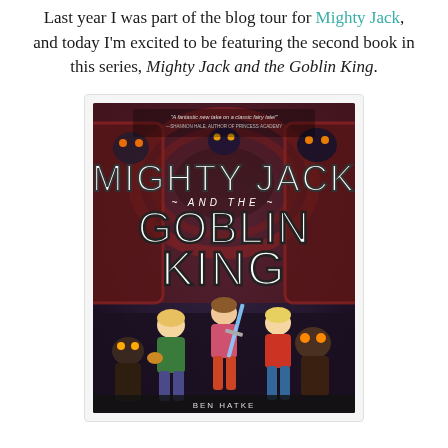Last year I was part of the blog tour for Mighty Jack, and today I'm excited to be featuring the second book in this series, Mighty Jack and the Goblin King.
[Figure (illustration): Book cover of 'Mighty Jack and the Goblin King' showing three children fighting off goblin monsters. The cover has a blurb: 'A fantastic new take on a classic fairy tale!' — Shannon Hale, author of Princess Academy. The title is displayed in large white distressed lettering.]